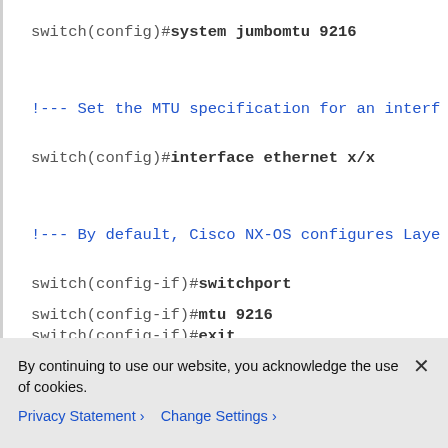switch(config)#system jumbomtu 9216
!--- Set the MTU specification for an interf
switch(config)#interface ethernet x/x
!--- By default, Cisco NX-OS configures Laye
switch(config-if)#switchport
switch(config-if)#mtu 9216
switch(config-if)#exit
By continuing to use our website, you acknowledge the use of cookies.
Privacy Statement > Change Settings >